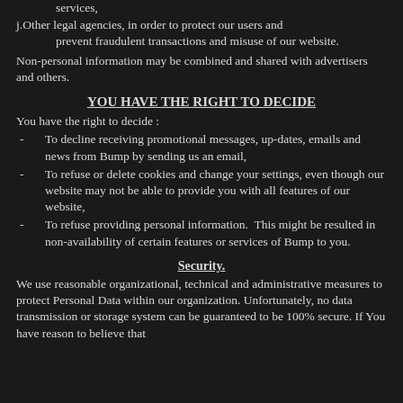services,
j.Other legal agencies, in order to protect our users and prevent fraudulent transactions and misuse of our website.
Non-personal information may be combined and shared with advertisers and others.
YOU HAVE THE RIGHT TO DECIDE
You have the right to decide :
To decline receiving promotional messages, up-dates, emails and news from Bump by sending us an email,
To refuse or delete cookies and change your settings, even though our website may not be able to provide you with all features of our website,
To refuse providing personal information.  This might be resulted in non-availability of certain features or services of Bump to you.
Security.
We use reasonable organizational, technical and administrative measures to protect Personal Data within our organization. Unfortunately, no data transmission or storage system can be guaranteed to be 100% secure. If You have reason to believe that